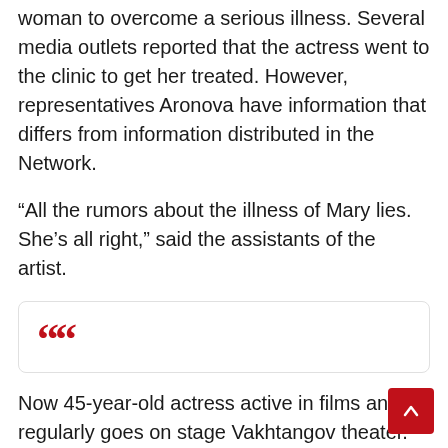woman to overcome a serious illness. Several media outlets reported that the actress went to the clinic to get her treated. However, representatives Aronova have information that differs from information distributed in the Network.
“All the rumors about the illness of Mary lies. She’s all right,” said the assistants of the artist.
[Figure (other): Red double quotation mark icon in a rounded box, used as a pull-quote visual element]
Now 45-year-old actress active in films and regularly goes on stage Vakhtangov theater. In movies she often gets a Comedy role. She has appeared in pictures like “the Tariff new year’s”, “waiting for the miracle”, and also became widely known thanks to the TV series